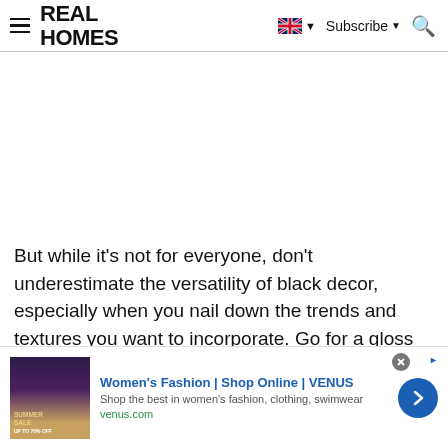REAL HOMES
[Figure (screenshot): White blank advertisement area placeholder]
But while it's not for everyone, don't underestimate the versatility of black decor, especially when you nail down the trends and textures you want to incorporate. Go for a gloss
[Figure (screenshot): Advertisement banner: Women's Fashion | Shop Online | VENUS - Shop the best in women's fashion, clothing, swimwear - venus.com]